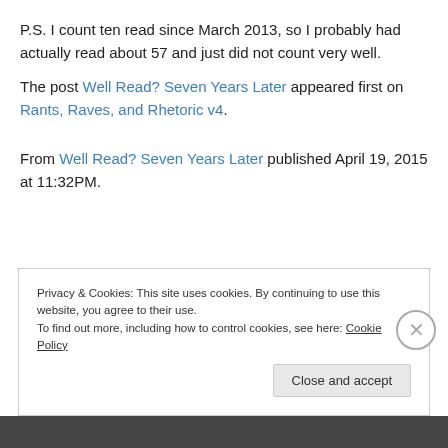P.S. I count ten read since March 2013, so I probably had actually read about 57 and just did not count very well.
The post Well Read? Seven Years Later appeared first on Rants, Raves, and Rhetoric v4.
From Well Read? Seven Years Later published April 19, 2015 at 11:32PM.
Privacy & Cookies: This site uses cookies. By continuing to use this website, you agree to their use. To find out more, including how to control cookies, see here: Cookie Policy